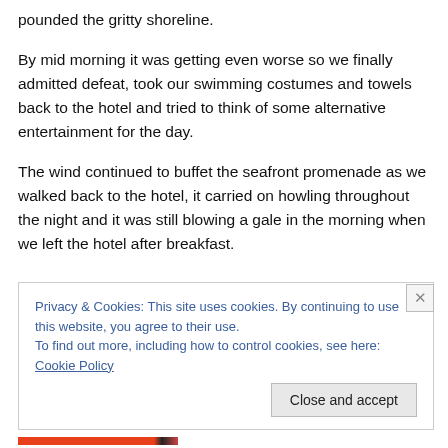pounded the gritty shoreline.
By mid morning it was getting even worse so we finally admitted defeat, took our swimming costumes and towels back to the hotel and tried to think of some alternative entertainment for the day.
The wind continued to buffet the seafront promenade as we walked back to the hotel, it carried on howling throughout the night and it was still blowing a gale in the morning when we left the hotel after breakfast.
Privacy & Cookies: This site uses cookies. By continuing to use this website, you agree to their use.
To find out more, including how to control cookies, see here: Cookie Policy